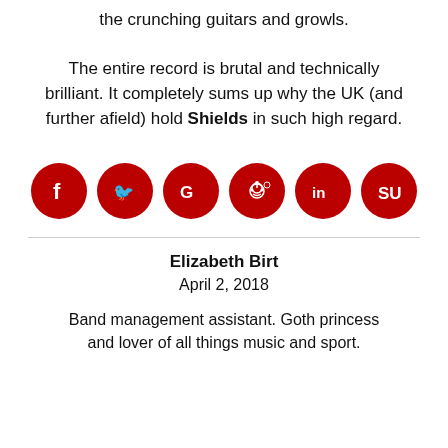the crunching guitars and growls. The entire record is brutal and technically brilliant. It completely sums up why the UK (and further afield) hold Shields in such high regard.
[Figure (infographic): Six social media share buttons (Facebook, Twitter, Google+, Reddit, LinkedIn, StumbleUpon) as red circles with white icons]
Elizabeth Birt
April 2, 2018
Band management assistant. Goth princess and lover of all things music and sport.